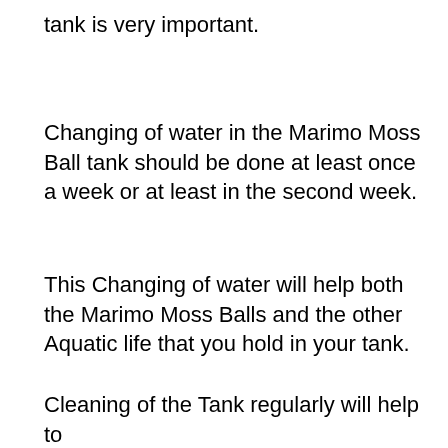tank is very important.
Changing of water in the Marimo Moss Ball tank should be done at least once a week or at least in the second week.
This Changing of water will help both the Marimo Moss Balls and the other Aquatic life that you hold in your tank.
Cleaning of the Tank regularly will help to